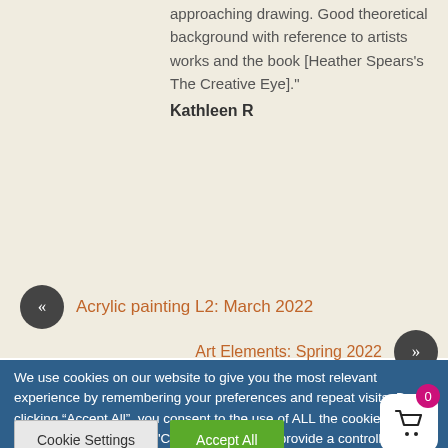approaching drawing. Good theoretical background with reference to artists works and the book [Heather Spears's The Creative Eye]."
Kathleen R
« Acrylic painting L2: March 2022
Art Elements: Spring 2022 »
We use cookies on our website to give you the most relevant experience by remembering your preferences and repeat visits. By clicking “Accept All”, you consent to the use of ALL the cookies. However, you may visit "Cookie Settings" to provide a controlled consent.
Cookie Settings
Accept All